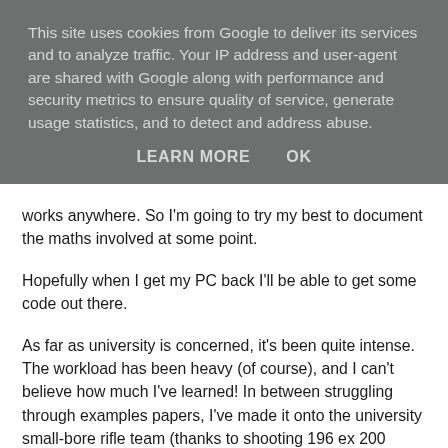This site uses cookies from Google to deliver its services and to analyze traffic. Your IP address and user-agent are shared with Google along with performance and security metrics to ensure quality of service, generate usage statistics, and to detect and address abuse.
LEARN MORE    OK
works anywhere. So I'm going to try my best to document the maths involved at some point.
Hopefully when I get my PC back I'll be able to get some code out there.
As far as university is concerned, it's been quite intense. The workload has been heavy (of course), and I can't believe how much I've learned! In between struggling through examples papers, I've made it onto the university small-bore rifle team (thanks to shooting 196 ex 200 against Edinburgh at the beginning of the month), as well as joining the Catholic chaplaincy's Schola Cantorum (the choir specializing in Gregorian chant and Renaissance music).